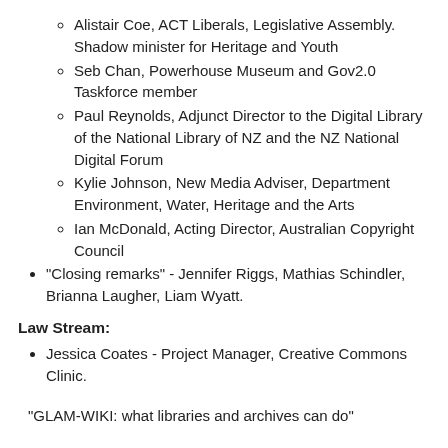Alistair Coe, ACT Liberals, Legislative Assembly. Shadow minister for Heritage and Youth
Seb Chan, Powerhouse Museum and Gov2.0 Taskforce member
Paul Reynolds, Adjunct Director to the Digital Library of the National Library of NZ and the NZ National Digital Forum
Kylie Johnson, New Media Adviser, Department Environment, Water, Heritage and the Arts
Ian McDonald, Acting Director, Australian Copyright Council
"Closing remarks" - Jennifer Riggs, Mathias Schindler, Brianna Laugher, Liam Wyatt.
Law Stream:
Jessica Coates - Project Manager, Creative Commons Clinic.
"GLAM-WIKI: what libraries and archives can do"